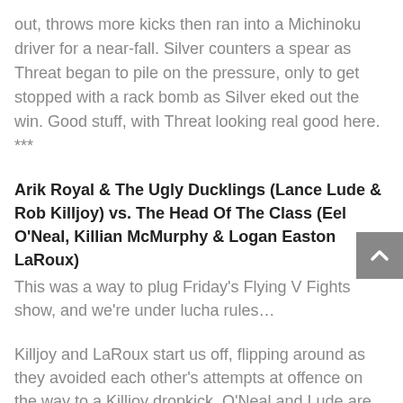out, throws more kicks then ran into a Michinoku driver for a near-fall. Silver counters a spear as Threat began to pile on the pressure, only to get stopped with a rack bomb as Silver eked out the win. Good stuff, with Threat looking real good here. ***
Arik Royal & The Ugly Ducklings (Lance Lude & Rob Killjoy) vs. The Head Of The Class (Eel O'Neal, Killian McMurphy & Logan Easton LaRoux)
This was a way to plug Friday's Flying V Fights show, and we're under lucha rules…
Killjoy and LaRoux start us off, flipping around as they avoided each other's attempts at offence on the way to a Killjoy dropkick. O'Neal and Lude are in next, but Lance slips in the ropes on the way to a lucha armdrag, before the Ducklings hit some nice double-team offence on O'Neal. In comes McMurphy and Royal, as Arik hits a 'rana before he used a back body drop to dump McMurphy outside. Royal follows him out with a seated senton press to the outside, before O'Neal and LaRoux